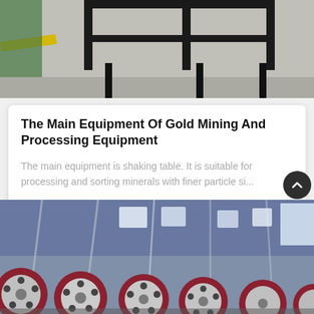[Figure (photo): Top portion of industrial equipment (black metal frame/cage structure on a concrete floor with yellow and green markings), cropped at the bottom of the image.]
The Main Equipment Of Gold Mining And Processing Equipment
The main equipment is shaking table. It is suitable for processing and sorting minerals with finer particle si...
Get Price
[Figure (photo): Industrial factory interior showing a row of large cylindrical ball mill machines with red and white/grey coloring, set in a large warehouse with steel framework and bright windows in the background.]